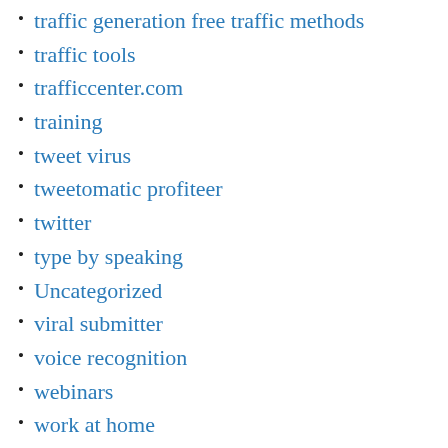traffic generation free traffic methods
traffic tools
trafficcenter.com
training
tweet virus
tweetomatic profiteer
twitter
type by speaking
Uncategorized
viral submitter
voice recognition
webinars
work at home
work from home
world profit
World Profit Home Business and Affiliate